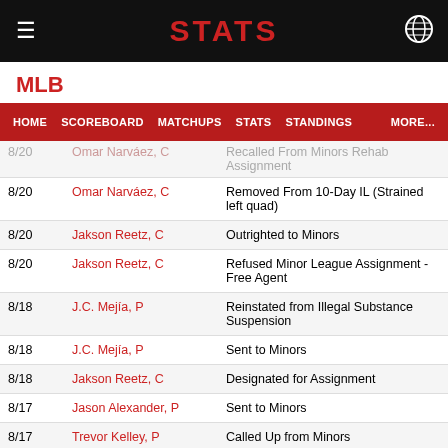STATS
MLB
HOME  SCOREBOARD  MATCHUPS  STATS  STANDINGS  MORE...
| Date | Player | Transaction |
| --- | --- | --- |
| 8/20 | Omar Narváez, C | Recalled From Minors Rehab Assignment |
| 8/20 | Omar Narváez, C | Removed From 10-Day IL (Strained left quad) |
| 8/20 | Jakson Reetz, C | Outrighted to Minors |
| 8/20 | Jakson Reetz, C | Refused Minor League Assignment - Free Agent |
| 8/18 | J.C. Mejía, P | Reinstated from Illegal Substance Suspension |
| 8/18 | J.C. Mejía, P | Sent to Minors |
| 8/18 | Jakson Reetz, C | Designated for Assignment |
| 8/17 | Jason Alexander, P | Sent to Minors |
| 8/17 | Trevor Kelley, P | Called Up from Minors |
| 8/16 | Omar Narváez, C | Sent to Minors For Rehabilitation |
| 8/16 | Trevor Rosenthal, P | Sent to Minors For Rehabilitation |